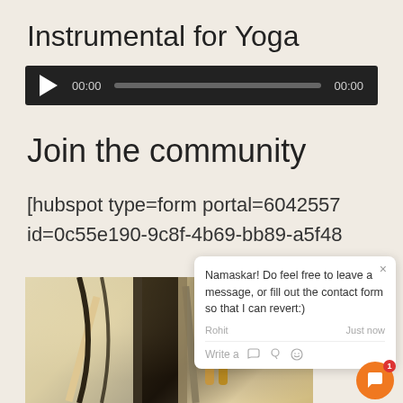Instrumental for Yoga
[Figure (other): Audio player widget with play button, time display 00:00, progress bar, and end time 00:00 on dark background]
Join the community
[hubspot type=form portal=6042557 id=0c55e190-9c8f-4b69-bb89-a5f48
[Figure (photo): Close-up photo of what appears to be a white garment or bag with black and yellow/orange straps or accents, with a vintage/sepia tone]
[Figure (screenshot): Chat widget overlay showing message from Rohit: Namaskar! Do feel free to leave a message, or fill out the contact form so that I can revert:) with write/emoji options and orange chat bubble button with notification badge showing 1]